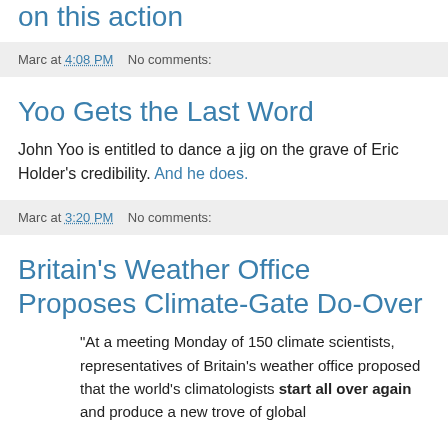on this action
Marc at 4:08 PM   No comments:
Yoo Gets the Last Word
John Yoo is entitled to dance a jig on the grave of Eric Holder's credibility. And he does.
Marc at 3:20 PM   No comments:
Britain's Weather Office Proposes Climate-Gate Do-Over
"At a meeting Monday of 150 climate scientists, representatives of Britain's weather office proposed that the world's climatologists start all over again and produce a new trove of global